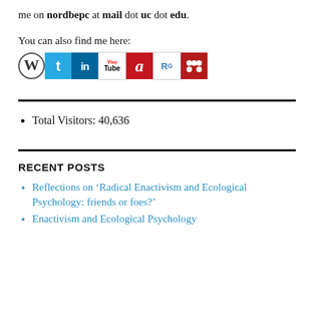me on nordbepc at mail dot uc dot edu.
You can also find me here:
[Figure (infographic): Row of social media icons: WordPress, Twitter, LinkedIn, YouTube, Academia.edu, ResearchGate, Mendeley]
Total Visitors: 40,636
RECENT POSTS
Reflections on ‘Radical Enactivism and Ecological Psychology: friends or foes?’
Enactivism and Ecological Psychology